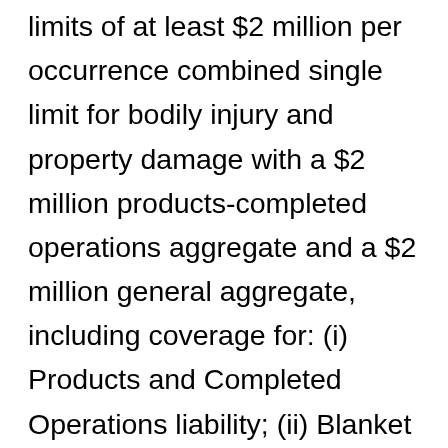limits of at least $2 million per occurrence combined single limit for bodily injury and property damage with a $2 million products-completed operations aggregate and a $2 million general aggregate, including coverage for: (i) Products and Completed Operations liability; (ii) Blanket Contractual liability; and (iii) Cross Liability endorsement or Severability of Interest clause. Insurance required shall: (1) be endorsed to insure Buyer, its officers, directors, employees, representatives and